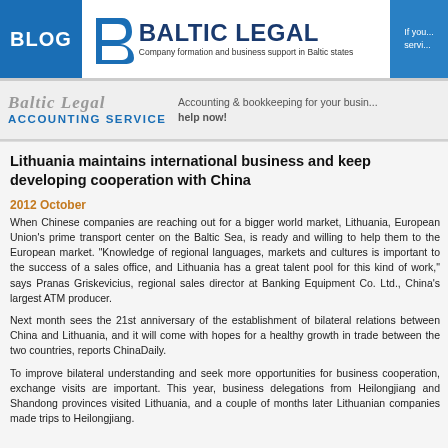BLOG | BALTIC LEGAL — Company formation and business support in Baltic states | If you... servi...
[Figure (logo): Baltic Legal logo with stylized B icon and tagline]
[Figure (logo): Baltic Legal Accounting Service banner with text: Accounting & bookkeeping for your business help now!]
Lithuania maintains international business and keep developing cooperation with China
2012 October
When Chinese companies are reaching out for a bigger world market, Lithuania, European Union's prime transport center on the Baltic Sea, is ready and willing to help them to the European market. "Knowledge of regional languages, markets and cultures is important to the success of a sales office, and Lithuania has a great talent pool for this kind of work," says Pranas Griskevicius, regional sales director at Banking Equipment Co. Ltd., China's largest ATM producer.
Next month sees the 21st anniversary of the establishment of bilateral relations between China and Lithuania, and it will come with hopes for a healthy growth in trade between the two countries, reports ChinaDaily.
To improve bilateral understanding and seek more opportunities for business cooperation, exchange visits are important. This year, business delegations from Heilongjiang and Shandong provinces visited Lithuania, and a couple of months later Lithuanian companies made trips to Heilongjiang.